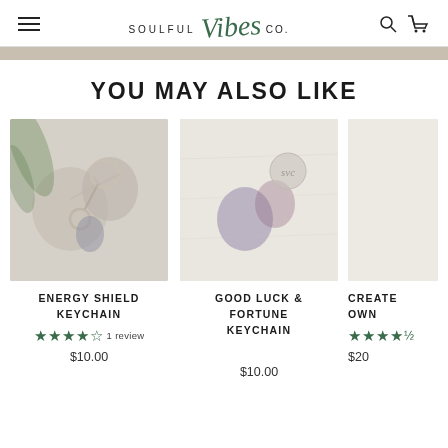SOULFUL Vibes CO. — navigation header with menu, logo, search and cart icons
YOU MAY ALSO LIKE
[Figure (photo): Energy Shield Keychain product photo showing crystal keychains on wood background]
ENERGY SHIELD KEYCHAIN
1 review
$10.00
[Figure (photo): Good Luck & Fortune Keychain product photo showing crystal on light background]
GOOD LUCK & FORTUNE KEYCHAIN
$10.00
[Figure (photo): Partially visible third product image]
CREATE OWN
$20